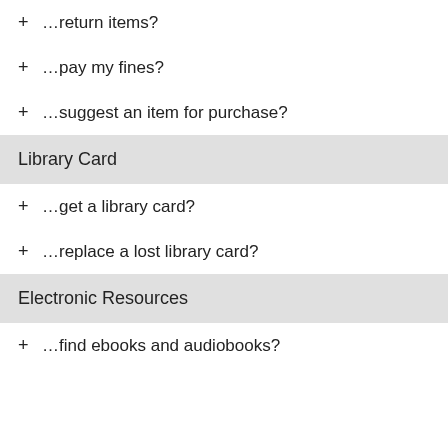+ …return items?
+ …pay my fines?
+ …suggest an item for purchase?
Library Card
+ …get a library card?
+ …replace a lost library card?
Electronic Resources
+ …find ebooks and audiobooks?